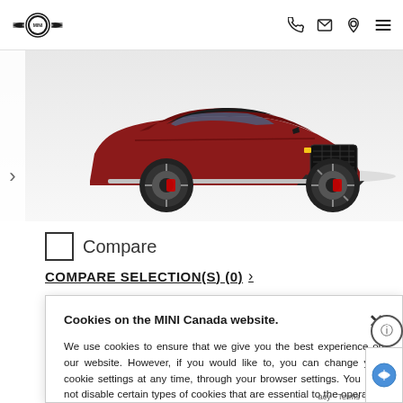MINI Canada website header with logo and navigation icons (phone, email, location, menu)
[Figure (photo): Red MINI Countryman JCW SUV photographed from front three-quarter angle against white background]
Compare
COMPARE SELECTION(S) (0) >
Cookies on the MINI Canada website.

We use cookies to ensure that we give you the best experience on our website. However, if you would like to, you can change your cookie settings at any time, through your browser settings. You may not disable certain types of cookies that are essential to the operation of our website and that are considered strictly necessary cookies. For example, we use strictly necessary cookies to provide you with regional pricing information. You can find detailed information about how cookies are used on this website by clicking here.
acy - Terms